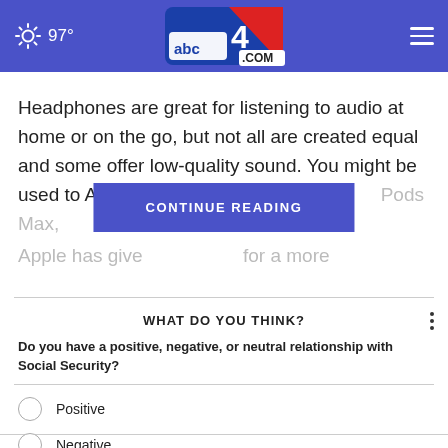97° abc4.com
Headphones are great for listening to audio at home or on the go, but not all are created equal and some offer low-quality sound. You might be used to Apple's compact in-ear … Pods Max, Apple has give… for a more
CONTINUE READING
WHAT DO YOU THINK?
Do you have a positive, negative, or neutral relationship with Social Security?
Positive
Negative